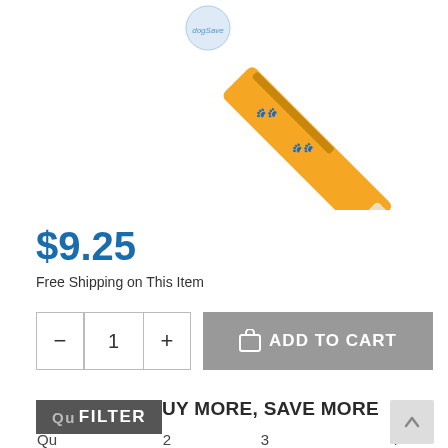[Figure (photo): A diagonal orange pen with dog paw prints and labrador retriever design, black tip at bottom right]
$9.25
Free Shipping on This Item
ADD TO CART
SITEWIDE - BUY MORE, SAVE MORE
| Qu | 2 | 3 | 4 + |
| --- | --- | --- | --- |
| Di | 10% | 15% | 20% |